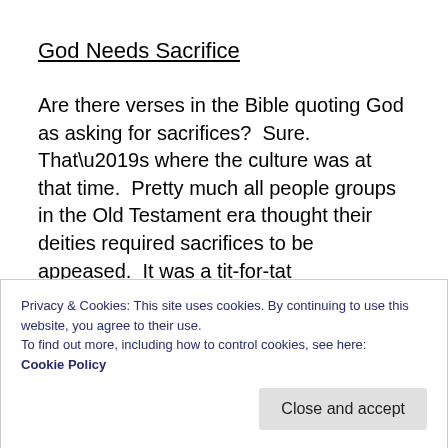God Needs Sacrifice
Are there verses in the Bible quoting God as asking for sacrifices?  Sure.  That’s where the culture was at that time.  Pretty much all people groups in the Old Testament era thought their deities required sacrifices to be appeased.  It was a tit-for-tat arrangement in which humans sacrificed children, animals, crops, etc. in order to feed their god/goddess, so that the deity would show them favor and bless them with children, land, crops
Privacy & Cookies: This site uses cookies. By continuing to use this website, you agree to their use.
To find out more, including how to control cookies, see here: Cookie Policy
Close and accept